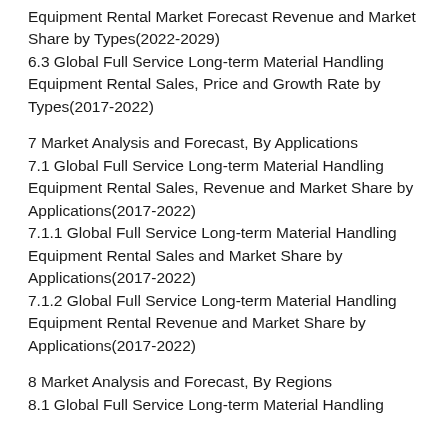Equipment Rental Market Forecast Revenue and Market Share by Types(2022-2029)
6.3 Global Full Service Long-term Material Handling Equipment Rental Sales, Price and Growth Rate by Types(2017-2022)
7 Market Analysis and Forecast, By Applications
7.1 Global Full Service Long-term Material Handling Equipment Rental Sales, Revenue and Market Share by Applications(2017-2022)
7.1.1 Global Full Service Long-term Material Handling Equipment Rental Sales and Market Share by Applications(2017-2022)
7.1.2 Global Full Service Long-term Material Handling Equipment Rental Revenue and Market Share by Applications(2017-2022)
8 Market Analysis and Forecast, By Regions
8.1 Global Full Service Long-term Material Handling